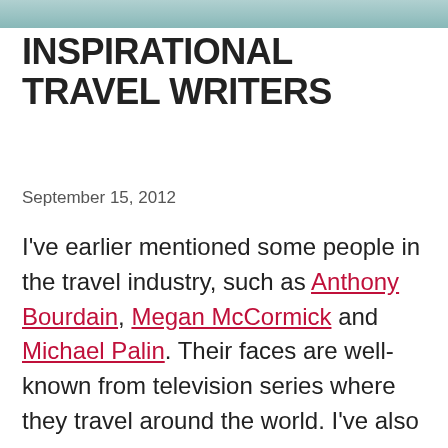[Figure (photo): Partial photograph visible at top of page, appears to show a person in teal/turquoise clothing outdoors on a stone surface]
INSPIRATIONAL TRAVEL WRITERS
September 15, 2012
I've earlier mentioned some people in the travel industry, such as Anthony Bourdain, Megan McCormick and Michael Palin. Their faces are well-known from television series where they travel around the world. I've also